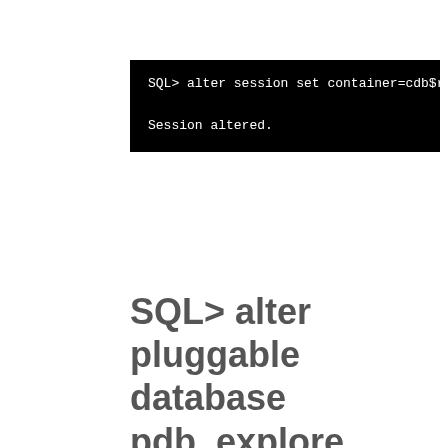[Figure (screenshot): Terminal/SQL*Plus screenshot on black background showing: SQL> alter session set container=cdb$root; followed by Session altered.]
SQL> alter pluggable database pdb_explore close;